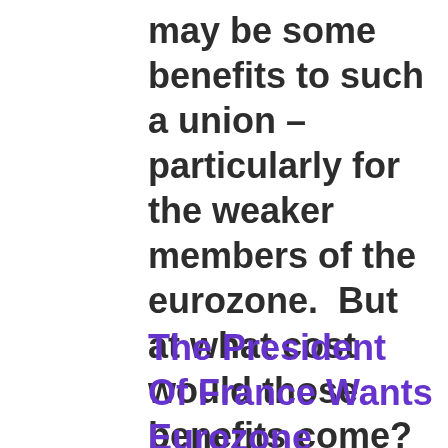may be some benefits to such a union – particularly for the weaker members of the eurozone.  But at what cost would those benefits come?
The President Of France Wants Eurozone Members To Transfer Their Sovereignty To...